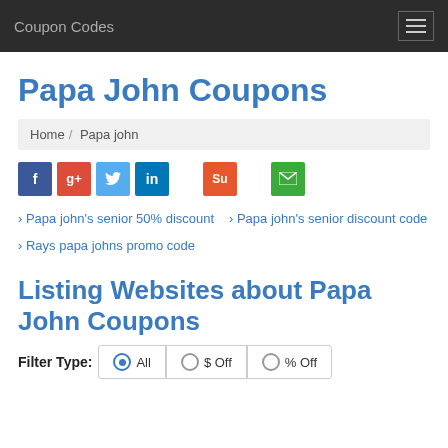Coupon Codes
Papa John Coupons
Home / Papa john
[Figure (infographic): Social media share buttons: Facebook (blue), Google+ (red), Twitter (light blue), LinkedIn (dark blue), StumbleUpon (orange), Email (green)]
Papa john's senior 50% discount
Papa john's senior discount code
Rays papa johns promo code
Listing Websites about Papa John Coupons
Filter Type: All $ Off % Off